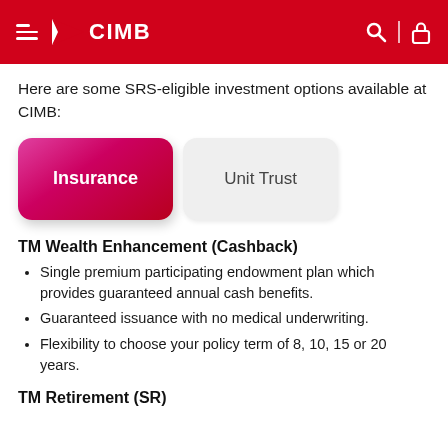CIMB
Here are some SRS-eligible investment options available at CIMB:
[Figure (other): Two tab buttons: 'Insurance' (active, pink-red gradient) and 'Unit Trust' (inactive, light grey)]
TM Wealth Enhancement (Cashback)
Single premium participating endowment plan which provides guaranteed annual cash benefits.
Guaranteed issuance with no medical underwriting.
Flexibility to choose your policy term of 8, 10, 15 or 20 years.
TM Retirement (SR)